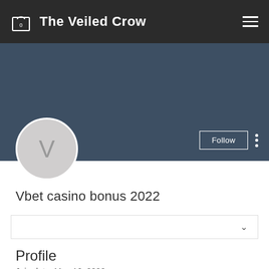The Veiled Crow
[Figure (screenshot): Profile banner with slate-blue background covering the top portion of the profile page]
[Figure (illustration): Circular avatar with letter V on grey background]
Vbet casino bonus 2022
Profile
Join date: May 16, 2022
About